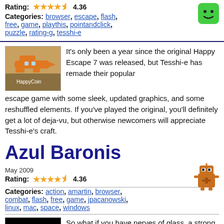Rating: 4.36 (stars)
Categories: browser, escape, flash, free, game, playthis, pointandclick, puzzle, rating-g, tesshi-e
It's only been a year since the original Happy Escape 7 was released, but Tesshi-e has remade their popular escape game with some sleek, updated graphics, and some reshuffled elements. If you've played the original, you'll definitely get a lot of deja-vu, but otherwise newcomers will appreciate Tesshi-e's craft.
Azul Baronis
May 2009
Rating: 4.36 (stars)
Categories: action, amartin, browser, combat, flash, free, game, jpacanowski, linux, mac, space, windows
So what if you have nerves of glass, a strong pull towards buttons marked 'DO NOT TOUCH' and a crippling fear of heights? Azul Baronis needs you to lead a